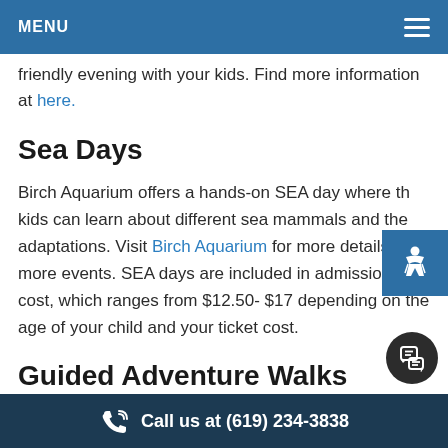MENU
friendly evening with your kids. Find more information at here.
Sea Days
Birch Aquarium offers a hands-on SEA day where the kids can learn about different sea mammals and their adaptations. Visit Birch Aquarium for more details and more events. SEA days are included in admissions cost, which ranges from $12.50- $17 depending on the age of your child and your ticket cost.
Guided Adventure Walks
Call us at (619) 234-3838